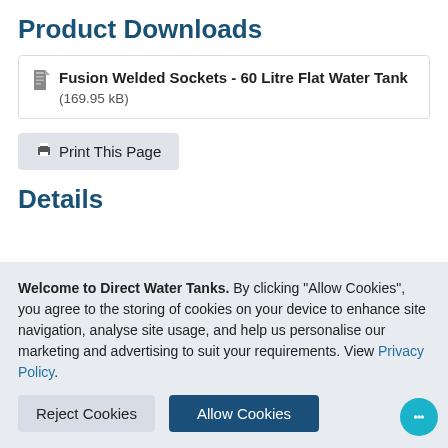Product Downloads
Fusion Welded Sockets - 60 Litre Flat Water Tank (169.95 kB)
Print This Page
Details
Welcome to Direct Water Tanks. By clicking “Allow Cookies”, you agree to the storing of cookies on your device to enhance site navigation, analyse site usage, and help us personalise our marketing and advertising to suit your requirements. View Privacy Policy.
Reject Cookies
Allow Cookies